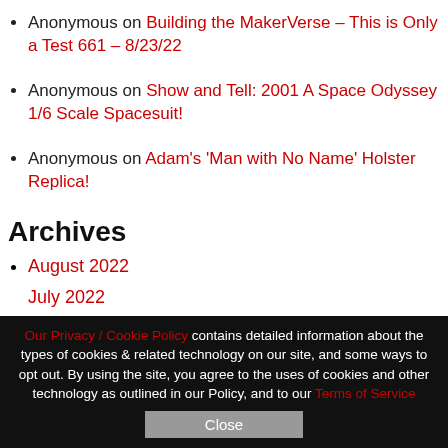Anonymous on Building the MakerVerse – This is Only a Test 661 – 8/23/22
Anonymous on Show and Tell: 2001 A Space Odyssey 1/6 Scale Spacesuit!
Anonymous on Adam's 'Man with No Name' Holster Replica!
Archives
August 2022
July 2022
Our Privacy / Cookie Policy contains detailed information about the types of cookies & related technology on our site, and some ways to opt out. By using the site, you agree to the uses of cookies and other technology as outlined in our Policy, and to our Terms of Service
Close